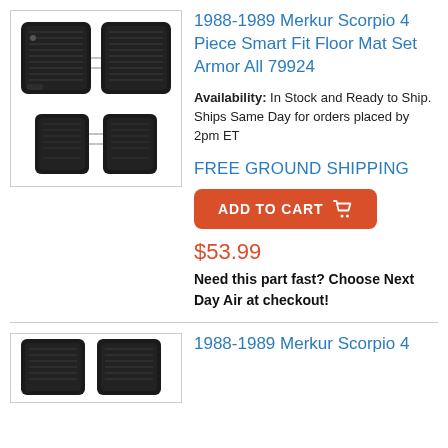[Figure (photo): Black rubber 4-piece floor mat set shown from above, two front mats and two rear mats]
1988-1989 Merkur Scorpio 4 Piece Smart Fit Floor Mat Set Armor All 79924
Availability: In Stock and Ready to Ship. Ships Same Day for orders placed by 2pm ET
FREE GROUND SHIPPING
ADD TO CART
$53.99
Need this part fast? Choose Next Day Air at checkout!
[Figure (photo): Black rubber floor mat set, partial view at bottom of page]
1988-1989 Merkur Scorpio 4